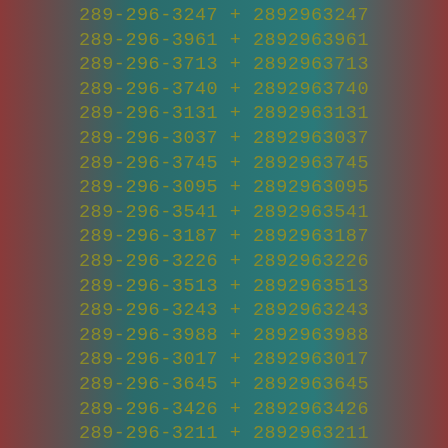289-296-3247 + 2892963247
289-296-3961 + 2892963961
289-296-3713 + 2892963713
289-296-3740 + 2892963740
289-296-3131 + 2892963131
289-296-3037 + 2892963037
289-296-3745 + 2892963745
289-296-3095 + 2892963095
289-296-3541 + 2892963541
289-296-3187 + 2892963187
289-296-3226 + 2892963226
289-296-3513 + 2892963513
289-296-3243 + 2892963243
289-296-3988 + 2892963988
289-296-3017 + 2892963017
289-296-3645 + 2892963645
289-296-3426 + 2892963426
289-296-3211 + 2892963211
289-296-3372 + 2892963372
289-296-3403 + 2892963403
289-296-3156 + 2892963156
289-296-3981 + 2892963981
289-296-3226 + 2892963226